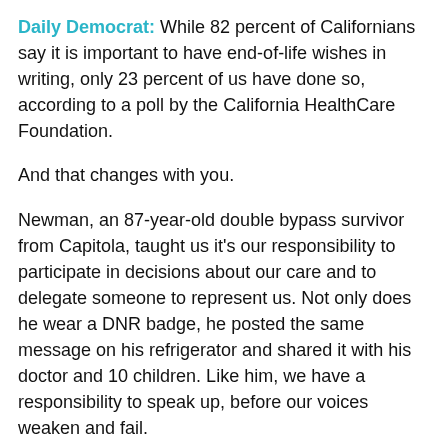Daily Democrat: While 82 percent of Californians say it is important to have end-of-life wishes in writing, only 23 percent of us have done so, according to a poll by the California HealthCare Foundation.
And that changes with you.
Newman, an 87-year-old double bypass survivor from Capitola, taught us it's our responsibility to participate in decisions about our care and to delegate someone to represent us. Not only does he wear a DNR badge, he posted the same message on his refrigerator and shared it with his doctor and 10 children. Like him, we have a responsibility to speak up, before our voices weaken and fail.
You — not doctors, not nurses — are the expert on your wishes about end-of-life care. First, tell your loved ones. Secondly, appoint someone to act as your bedside advocate. Many new online resources can help you get